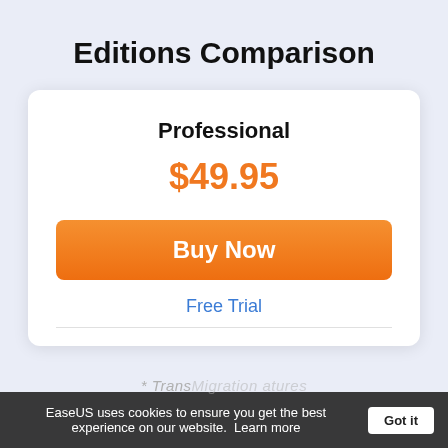Editions Comparison
Professional
$49.95
Buy Now
Free Trial
EaseUS uses cookies to ensure you get the best experience on our website.  Learn more   Got it